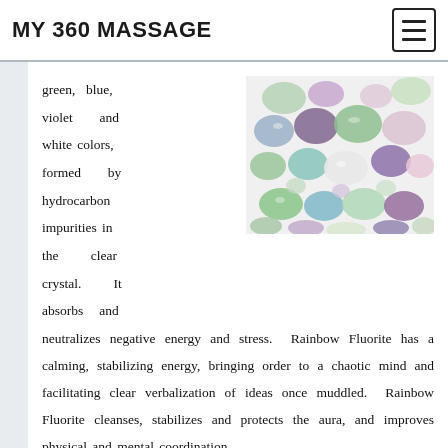MY 360 MASSAGE
[Figure (photo): Tumbled rainbow fluorite crystals in green, purple, blue, pink, and white colors on a white background]
green, blue, violet and white colors, formed by hydrocarbon impurities in the clear crystal. It absorbs and neutralizes negative energy and stress. Rainbow Fluorite has a calming, stabilizing energy, bringing order to a chaotic mind and facilitating clear verbalization of ideas once muddled. Rainbow Fluorite cleanses, stabilizes and protects the aura, and improves physical and mental coordination.